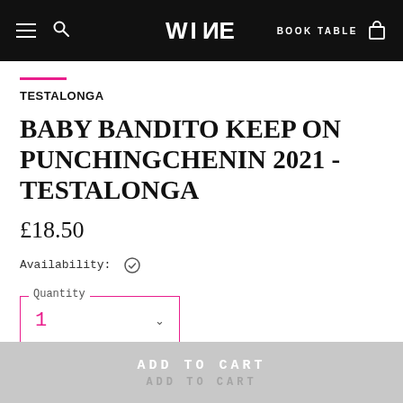WINE | BOOK TABLE
TESTALONGA
BABY BANDITO KEEP ON PUNCHINGCHENIN 2021 - TESTALONGA
£18.50
Availability: ✓
Quantity: 1
ADD TO CART